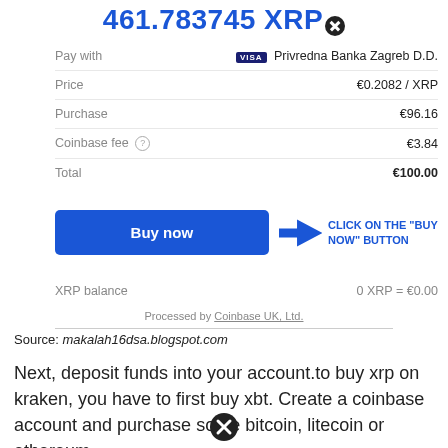461.783745 XRP
|  |  |
| --- | --- |
| Pay with | VISA  Privredna Banka Zagreb D.D. |
| Price | €0.2082 / XRP |
| Purchase | €96.16 |
| Coinbase fee ? | €3.84 |
| Total | €100.00 |
[Figure (other): Blue Buy now button with arrow annotation saying CLICK ON THE "BUY NOW" BUTTON]
XRP balance   0 XRP = €0.00
Processed by  Coinbase UK, Ltd.
Source: makalah16dsa.blogspot.com
Next, deposit funds into your account.to buy xrp on kraken, you have to first buy xbt. Create a coinbase account and purchase some bitcoin, litecoin or ethereum.